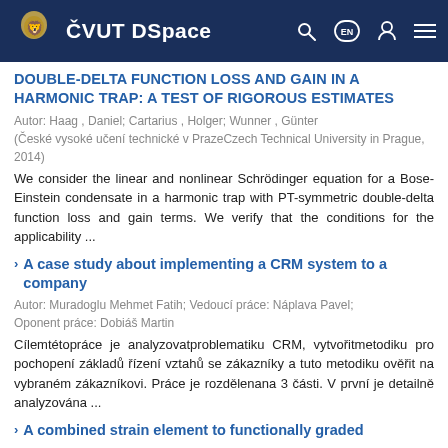ČVUT DSpace
DOUBLE-DELTA FUNCTION LOSS AND GAIN IN A HARMONIC TRAP: A TEST OF RIGOROUS ESTIMATES
Autor: Haag , Daniel; Cartarius , Holger; Wunner , Günter
(České vysoké učení technické v PrazeCzech Technical University in Prague, 2014)
We consider the linear and nonlinear Schrödinger equation for a Bose-Einstein condensate in a harmonic trap with PT-symmetric double-delta function loss and gain terms. We verify that the conditions for the applicability ...
A case study about implementing a CRM system to a company
Autor: Muradoglu Mehmet Fatih; Vedoucí práce: Náplava Pavel;
Oponent práce: Dobiáš Martin
Cílemtétopráce je analyzovatproblematiku CRM, vytvořitmetodiku pro pochopení základů řízení vztahů se zákazníky a tuto metodiku ověřit na vybraném zákazníkovi. Práce je rozdělenana 3 části. V první je detailně analyzována ...
A combined strain element to functionally graded